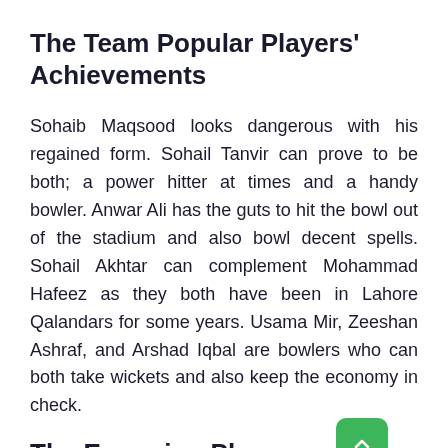The Team Popular Players' Achievements
Sohaib Maqsood looks dangerous with his regained form. Sohail Tanvir can prove to be both; a power hitter at times and a handy bowler. Anwar Ali has the guts to hit the bowl out of the stadium and also bowl decent spells. Sohail Akhtar can complement Mohammad Hafeez as they both have been in Lahore Qalandars for some years. Usama Mir, Zeeshan Ashraf, and Arshad Iqbal are bowlers who can both take wickets and also keep the economy in check.
The Emerging Players